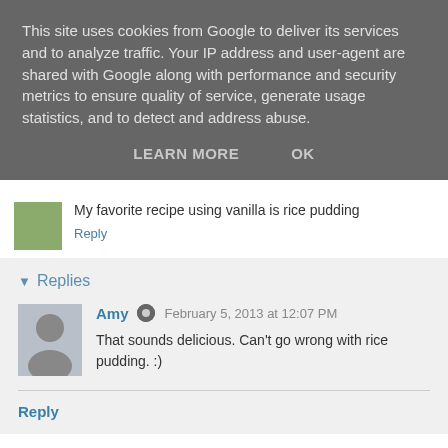This site uses cookies from Google to deliver its services and to analyze traffic. Your IP address and user-agent are shared with Google along with performance and security metrics to ensure quality of service, generate usage statistics, and to detect and address abuse.
LEARN MORE   OK
My favorite recipe using vanilla is rice pudding
Reply
Replies
Amy  February 5, 2013 at 12:07 PM
That sounds delicious. Can't go wrong with rice pudding. :)
Reply
Andrea  January 28, 2013 at 5:27 AM